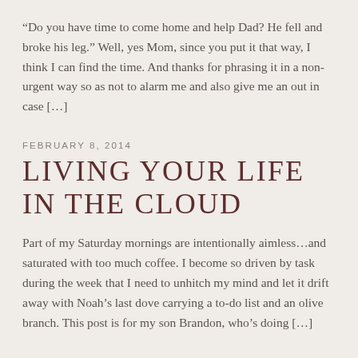“Do you have time to come home and help Dad? He fell and broke his leg.” Well, yes Mom, since you put it that way, I think I can find the time. And thanks for phrasing it in a non-urgent way so as not to alarm me and also give me an out in case [...]
FEBRUARY 8, 2014
LIVING YOUR LIFE IN THE CLOUD
Part of my Saturday mornings are intentionally aimless...and saturated with too much coffee. I become so driven by task during the week that I need to unhitch my mind and let it drift away with Noah’s last dove carrying a to-do list and an olive branch. This post is for my son Brandon, who’s doing [...]